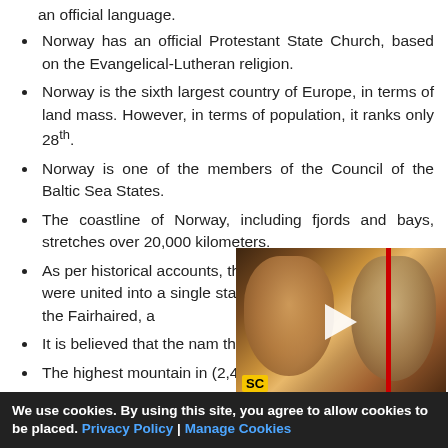an official language.
Norway has an official Protestant State Church, based on the Evangelical-Lutheran religion.
Norway is the sixth largest country of Europe, in terms of land mass. However, in terms of population, it ranks only 28th.
Norway is one of the members of the Council of the Baltic Sea States.
The coastline of Norway, including fjords and bays, stretches over 20,000 kilometers.
As per historical accounts, the small kingdoms of Norway were united into a single state around 885 AD, by Harald the Fairhaired, a
It is believed that the nam the North".
The highest mountain in (2,469 m). The largest lake
[Figure (screenshot): Video overlay showing two people (hobbits from Lord of the Rings) with a play button, SC logo, and a red bar on the right side]
We use cookies. By using this site, you agree to allow cookies to be placed. Privacy Policy | Manage Cookies